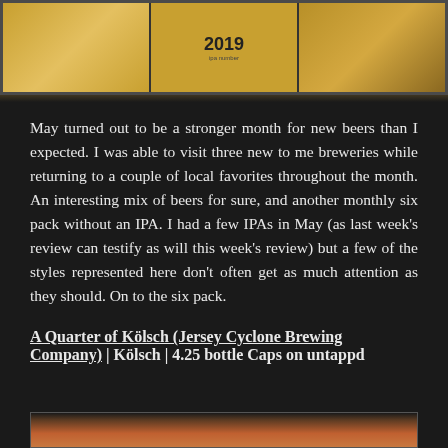[Figure (photo): Three beer glasses/bottles in a row against a dark background. Middle segment shows '2019' text with smaller text below it. Colors are golden/amber tones.]
May turned out to be a stronger month for new beers than I expected. I was able to visit three new to me breweries while returning to a couple of local favorites throughout the month. An interesting mix of beers for sure, and another monthly six pack without an IPA. I had a few IPAs in May (as last week's review can testify as will this week's review) but a few of the styles represented here don't often get as much attention as they should. On to the six pack.
A Quarter of Kölsch (Jersey Cyclone Brewing Company) | Kölsch | 4.25 bottle Caps on untappd
[Figure (photo): Bottom partial image showing a beer-related item, appears to be a coaster or label with orange/red coloring.]